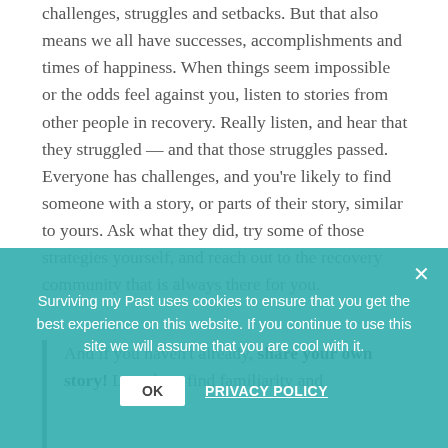challenges, struggles and setbacks. But that also means we all have successes, accomplishments and times of happiness. When things seem impossible or the odds feel against you, listen to stories from other people in recovery. Really listen, and hear that they struggled — and that those struggles passed. Everyone has challenges, and you're likely to find someone with a story, or parts of their story, similar to yours. Ask what they did, try some of those strategies yourself, and reach out to the recovery community that is always there for you.
And if you haven't already, share your own story! Let others find familiarity and...
Surviving my Past uses cookies to ensure that you get the best experience on this website. If you continue to use this site we will assume that you are cool with it.